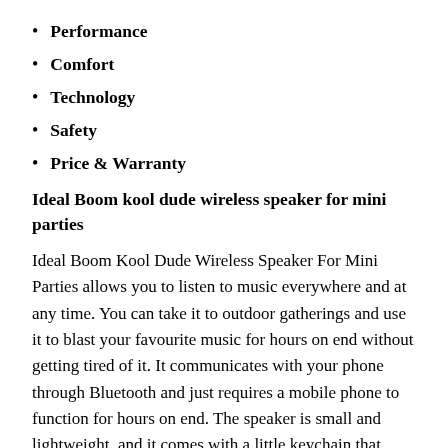Performance
Comfort
Technology
Safety
Price & Warranty
Ideal Boom kool dude wireless speaker for mini parties
Ideal Boom Kool Dude Wireless Speaker For Mini Parties allows you to listen to music everywhere and at any time. You can take it to outdoor gatherings and use it to blast your favourite music for hours on end without getting tired of it. It communicates with your phone through Bluetooth and just requires a mobile phone to function for hours on end. The speaker is small and lightweight, and it comes with a little keychain that enables you to hang it wherever